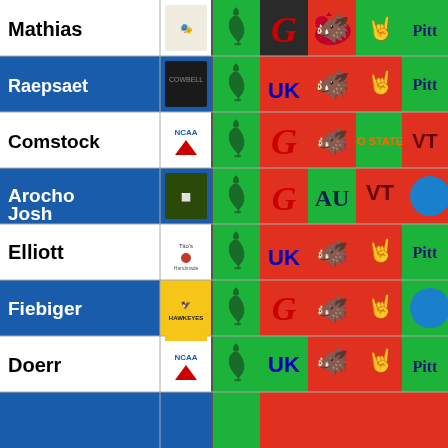[Figure (other): College football pick'em grid showing names (Mathias, Raepsaet, Comstock, Arocho Josh, Elliott, Fiebiger, Doerr) with team logo picks including Michigan State, Georgia, Arkansas, Texas, Pitt, Kentucky, Oklahoma State, Virginia Tech, Auburn, Iowa. Green cells = correct pick, Red cells = incorrect pick, Dark = unknown.]